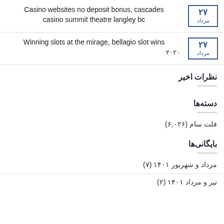Casino websites no deposit bonus, cascades casino summit theatre langley bc — 27 مرداد
Winning slots at the mirage, bellagio slot wins ۲۰۲۰ — 27 مرداد
نظرات اخیر
دسته‌ها
فلت سام (۶,۰۲۶)
بایگانی‌ها
مرداد و شهریور ۱۴۰۱ (۷)
تیر و مرداد ۱۴۰۱ (۲)